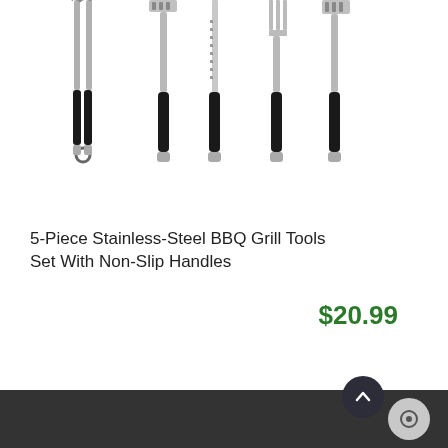[Figure (photo): Five BBQ grill tools with stainless steel tops and black non-slip handles, displayed vertically: tongs, spatula, knife, fork, and another spatula/fork.]
5-Piece Stainless-Steel BBQ Grill Tools Set With Non-Slip Handles
$20.99